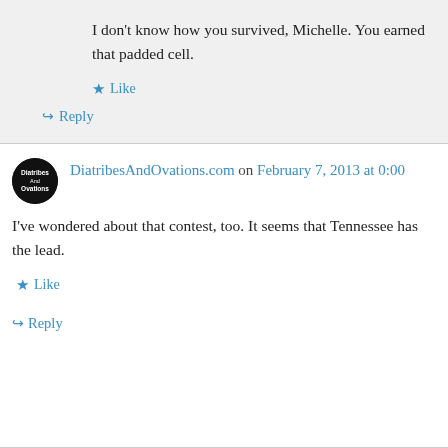I don't know how you survived, Michelle. You earned that padded cell.
★ Like
↪ Reply
DiatribesAndOvations.com on February 7, 2013 at 0:00
I've wondered about that contest, too. It seems that Tennessee has the lead.
★ Like
↪ Reply